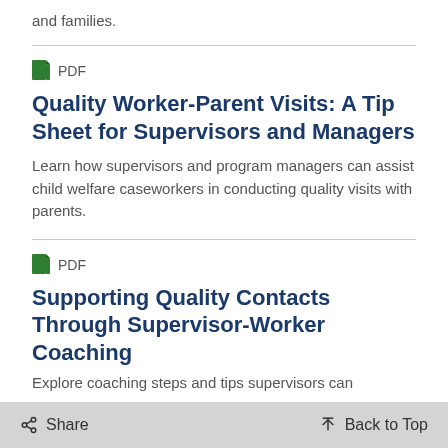and families.
PDF
Quality Worker-Parent Visits: A Tip Sheet for Supervisors and Managers
Learn how supervisors and program managers can assist child welfare caseworkers in conducting quality visits with parents.
PDF
Supporting Quality Contacts Through Supervisor-Worker Coaching
Explore coaching steps and tips supervisors can